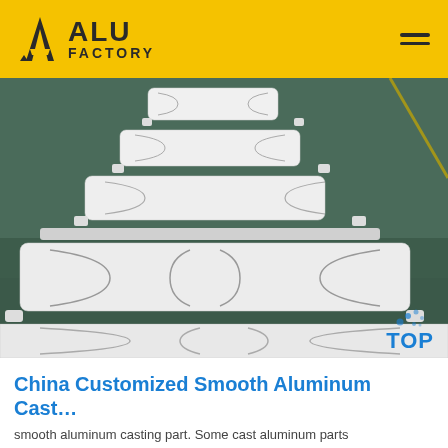[Figure (logo): ALU FACTORY logo with yellow background header and hamburger menu icon]
[Figure (photo): White smooth aluminum casting parts laid out in rows on a green factory floor, showing multiple large flat panels with curved surface details]
[Figure (other): TOP scroll button with blue dots and blue TOP text]
China Customized Smooth Aluminum Cast…
smooth aluminum casting part. Some cast aluminum parts